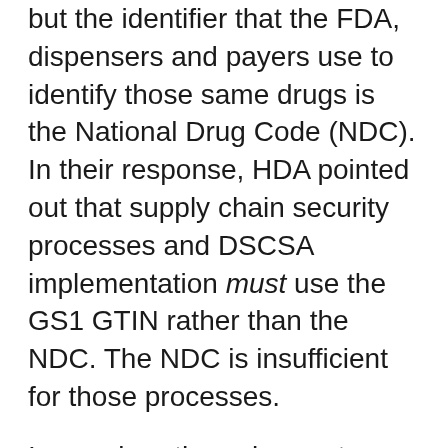but the identifier that the FDA, dispensers and payers use to identify those same drugs is the National Drug Code (NDC). In their response, HDA pointed out that supply chain security processes and DSCSA implementation must use the GS1 GTIN rather than the NDC. The NDC is insufficient for those processes.
In my view, the only way to resolve this is for the FDA to define a single identifier that can be used without modification by members of the supply chain for security purposes and DSCSA implementation, AND by dispensers and payers. We need a single identifier. And that identifier must be capable of being depicted in machine-readable form, unmodified, and it must conform to global standards.